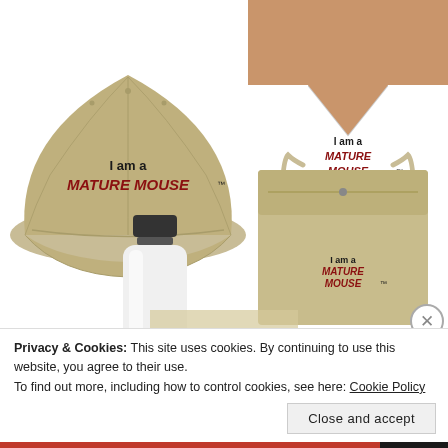[Figure (photo): Product collage showing merchandise with 'I am a MATURE MOUSE' branding: a khaki baseball cap (top left), a white v-neck t-shirt (top right), a water bottle (bottom center-left), and a canvas drawstring bag (bottom right), all featuring the same logo text.]
Privacy & Cookies: This site uses cookies. By continuing to use this website, you agree to their use.
To find out more, including how to control cookies, see here: Cookie Policy
Close and accept